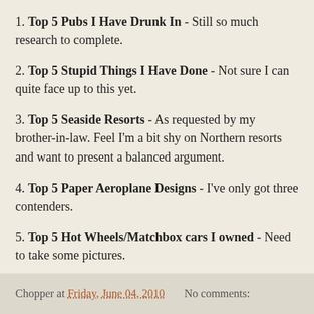1. Top 5 Pubs I Have Drunk In - Still so much research to complete.
2. Top 5 Stupid Things I Have Done - Not sure I can quite face up to this yet.
3. Top 5 Seaside Resorts - As requested by my brother-in-law. Feel I'm a bit shy on Northern resorts and want to present a balanced argument.
4. Top 5 Paper Aeroplane Designs - I've only got three contenders.
5. Top 5 Hot Wheels/Matchbox cars I owned - Need to take some pictures.
.
Chopper at Friday, June 04, 2010    No comments: